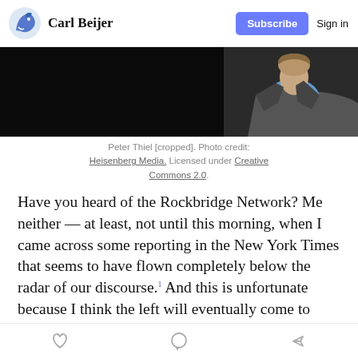Carl Beijer  Subscribe  Sign in
[Figure (photo): Cropped photo of Peter Thiel, showing the right portion of his face and a grey suit jacket with a blue shirt, against a dark background.]
Peter Thiel [cropped]. Photo credit: Heisenberg Media. Licensed under Creative Commons 2.0.
Have you heard of the Rockbridge Network? Me neither — at least, not until this morning, when I came across some reporting in the New York Times that seems to have flown completely below the radar of our discourse.1 And this is unfortunate because I think the left will eventually come to regard it as groundbreaking reporting, naming for
♡  ○  ↗